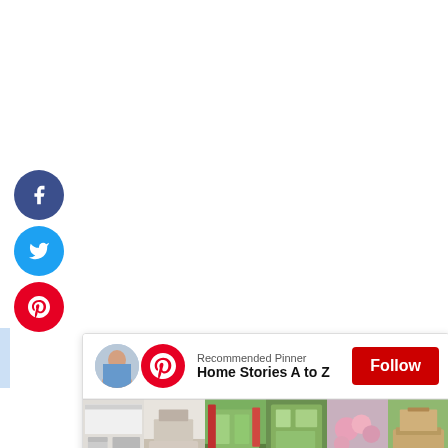[Figure (infographic): Social media share buttons: Facebook (dark blue circle with f icon), Twitter (light blue circle with bird icon), Pinterest (red circle with p icon), stacked vertically on the left side of the page]
[Figure (screenshot): MiloTree Pinterest widget popup showing: Recommended Pinner - Home Stories A to Z, with a Follow button in red, a grid of home/garden images below, and 'Powered by MiloTree' footer with 'X CLOSE' button]